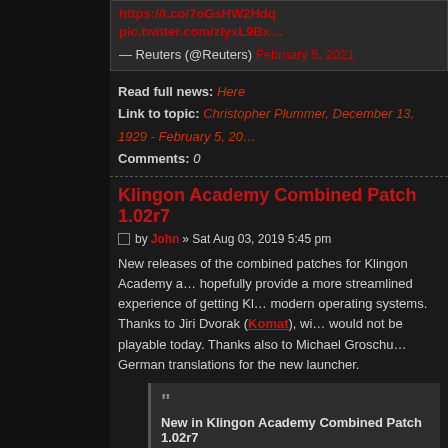https://t.co/7oGsHW2Hdq pic.twitter.com/zlyxL9Bx...
— Reuters (@Reuters) February 5, 2021
Read full news: Here
Link to topic: Christopher Plummer, December 13, 1929 - February 5, 20...
Comments: 0
Klingon Academy Combined Patch 1.02r7
by John » Sat Aug 03, 2019 5:45 pm
New releases of the combined patches for Klingon Academy a... hopefully provide a more streamlined experience of getting KI... modern operating systems. Thanks to Jiri Dvorak (Komat), wi... would not be playable today. Thanks also to Michael Groschu... German translations for the new launcher.
““
New in Klingon Academy Combined Patch 1.02r7

Launcher Fixes: